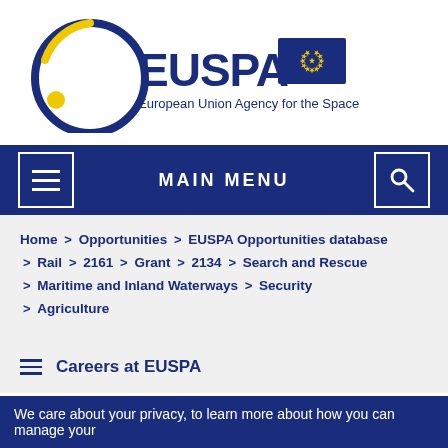[Figure (logo): EUSPA logo — European Union Agency for the Space Programme with EU flag]
MAIN MENU
Home > Opportunities > EUSPA Opportunities database > Rail > 2161 > Grant > 2134 > Search and Rescue > Maritime and Inland Waterways > Security > Agriculture
Careers at EUSPA
We care about your privacy, to learn more about how you can manage your